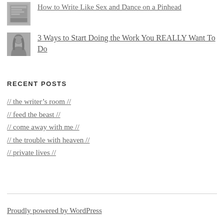[Figure (photo): Small thumbnail image - book cover or abstract graphic, grayscale]
How to Write Like Sex and Dance on a Pinhead
[Figure (photo): Small thumbnail portrait photo of a woman with long hair, grayscale]
3 Ways to Start Doing the Work You REALLY Want To Do
RECENT POSTS
// the writer's room //
// feed the beast //
// come away with me //
// the trouble with heaven //
// private lives //
Proudly powered by WordPress